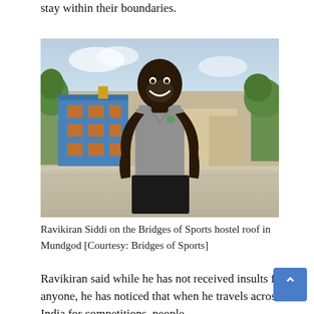stay within their boundaries.
[Figure (photo): A young Black man wearing a gray sleeveless athletic top and black shorts, smiling, standing on a rooftop with an Indian city skyline behind him including a blue multi-storey building.]
Ravikiran Siddi on the Bridges of Sports hostel roof in Mundgod [Courtesy: Bridges of Sports]
Ravikiran said while he has not received insults from anyone, he has noticed that when he travels across India for competitions, people